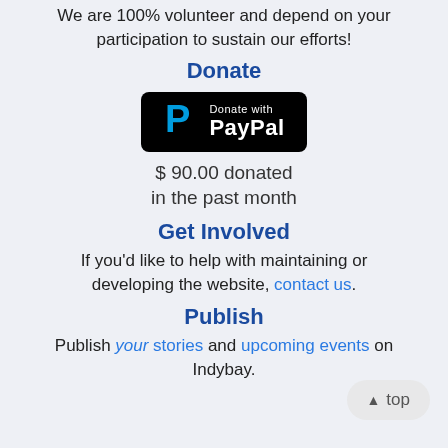We are 100% volunteer and depend on your participation to sustain our efforts!
Donate
[Figure (logo): PayPal donate button: black rounded rectangle with PayPal P logo and text 'Donate with PayPal']
$ 90.00 donated in the past month
Get Involved
If you'd like to help with maintaining or developing the website, contact us.
Publish
Publish your stories and upcoming events on Indybay.